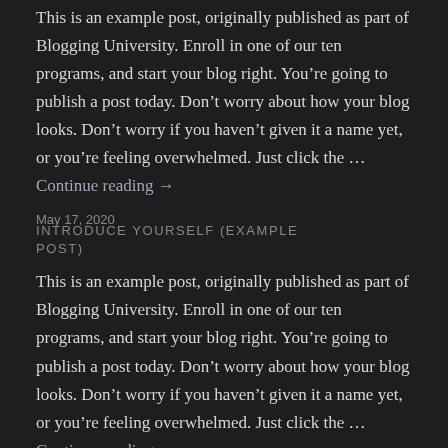This is an example post, originally published as part of Blogging University. Enroll in one of our ten programs, and start your blog right. You’re going to publish a post today. Don’t worry about how your blog looks. Don’t worry if you haven’t given it a name yet, or you’re feeling overwhelmed. Just click the … Continue reading →
May 17, 2020
INTRODUCE YOURSELF (EXAMPLE POST)
This is an example post, originally published as part of Blogging University. Enroll in one of our ten programs, and start your blog right. You’re going to publish a post today. Don’t worry about how your blog looks. Don’t worry if you haven’t given it a name yet, or you’re feeling overwhelmed. Just click the … Continue reading →
May 17, 2020